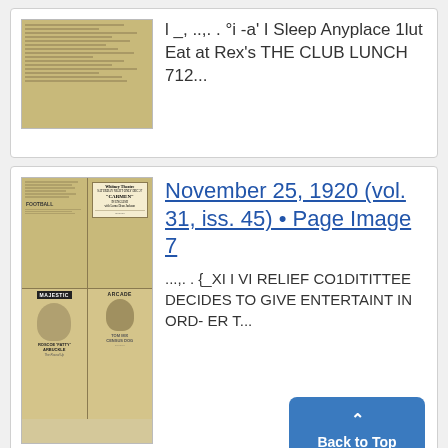[Figure (photo): Thumbnail of an old newspaper document page, yellowish/sepia toned with printed text lines]
l _, ..,. . °i -a' I Sleep Anyplace 1lut Eat at Rex's THE CLUB LUNCH 712...
[Figure (photo): Thumbnail of a 1920 newspaper page showing theater advertisements for Whitney Theatre presenting 'CARMEN', FOOTBALL section, MAJESTIC theatre featuring Roscoe 'Fatty' Arbuckle, and ARCADE theatre]
November 25, 1920 (vol. 31, iss. 45) • Page Image 7
...,. . {_XI I VI RELIEF CO1DITITTEE DECIDES TO GIVE ENTERTAINMENT IN ORD- ER T...